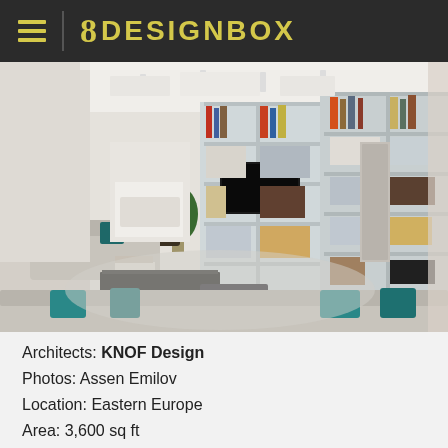8 DESIGNBOX
[Figure (photo): Modern open-plan living room interior with white bookshelves, mounted TV, grey sofas with teal/blue accent cushions, black coffee table, plant, and open kitchen visible in background. Track lighting on white ceiling. Eastern European apartment.]
Architects: KNOF Design
Photos: Assen Emilov
Location: Eastern Europe
Area: 3,600 sq ft